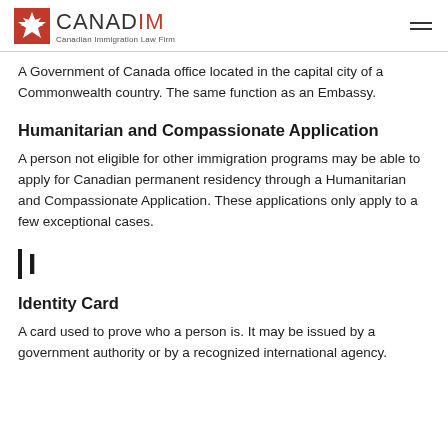CANADIM — Canadian Immigration Law Firm
A Government of Canada office located in the capital city of a Commonwealth country. The same function as an Embassy.
Humanitarian and Compassionate Application
A person not eligible for other immigration programs may be able to apply for Canadian permanent residency through a Humanitarian and Compassionate Application. These applications only apply to a few exceptional cases.
I
Identity Card
A card used to prove who a person is. It may be issued by a government authority or by a recognized international agency.